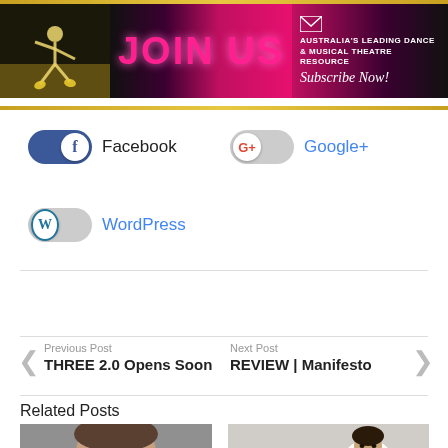[Figure (infographic): JOIN US banner ad for Australia's Leading Dance & Musical Theatre Resource with dancer silhouette, email icon, and Subscribe Now script text]
Facebook
Google+
WordPress
Previous Post
THREE 2.0 Opens Soon
Next Post
REVIEW | Manifesto
Related Posts
[Figure (photo): Close-up photo of a male dancer's face against grey background]
[Figure (photo): Photo of a female dancer in white costume]